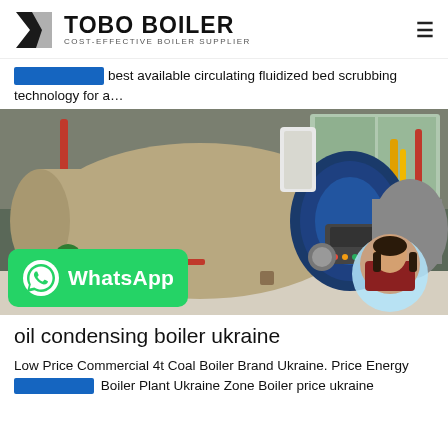TOBO BOILER — COST-EFFECTIVE BOILER SUPPLIER
best available circulating fluidized bed scrubbing technology for a…
[Figure (photo): Industrial boiler installation showing large horizontal cylindrical boilers with blue fronts and burners in an indoor facility, with red and yellow piping visible]
oil condensing boiler ukraine
Low Price Commercial 4t Coal Boiler Brand Ukraine. Price Energy Boiler Plant Ukraine Zone Boiler price ukraine